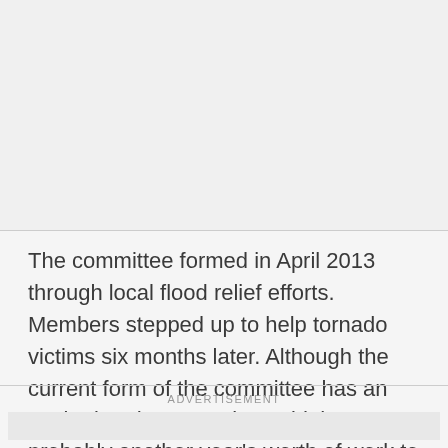The committee formed in April 2013 through local flood relief efforts. Members stepped up to help tornado victims six months later. Although the current form of the committee has an expiration date, Fassino said there's probably another year's worth of work to do.
ADVERTISEMENT